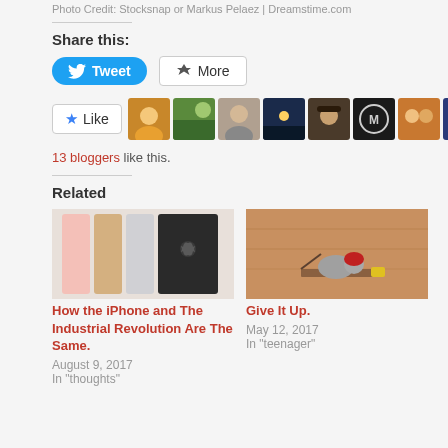Photo Credit: Stocksnap or Markus Pelaez | Dreamstime.com
Share this:
[Figure (screenshot): Tweet button (blue) and More button (grey outline) for sharing]
[Figure (screenshot): Like button with star icon and row of 10 blogger avatar thumbnails]
13 bloggers like this.
Related
[Figure (photo): iPhone models lined up showing backs in pink, gold, silver, and black]
How the iPhone and The Industrial Revolution Are The Same.
August 9, 2017
In "thoughts"
[Figure (photo): Mouse wearing a red helmet near a mousetrap with cheese on a wooden floor]
Give It Up.
May 12, 2017
In "teenager"